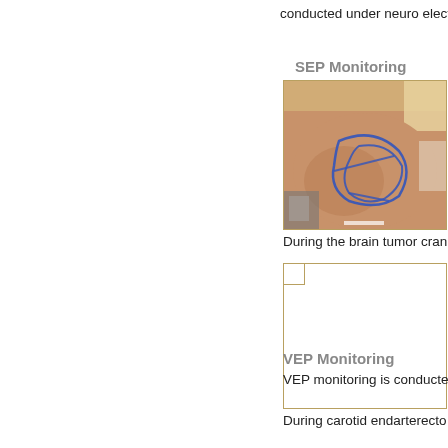conducted under neuro electro
SEP Monitoring
[Figure (photo): Photograph of a patient's shaved head with blue surgical markings drawn on the scalp, showing planned craniotomy incision lines. Medical equipment visible in background.]
During the brain tumor cran
[Figure (photo): Blank/white image placeholder with small square marker in top-left corner, bordered by a tan/gold border.]
During carotid endarterecto
VEP Monitoring
VEP monitoring is conducte corto